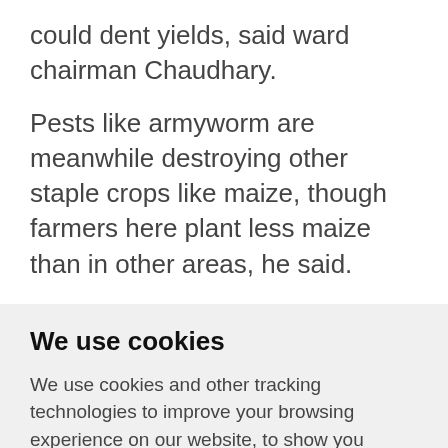could dent yields, said ward chairman Chaudhary.
Pests like armyworm are meanwhile destroying other staple crops like maize, though farmers here plant less maize than in other areas, he said.
We use cookies
We use cookies and other tracking technologies to improve your browsing experience on our website, to show you personalized content and targeted ads, to analyze our website traffic, and to understand where our visitors are coming from.